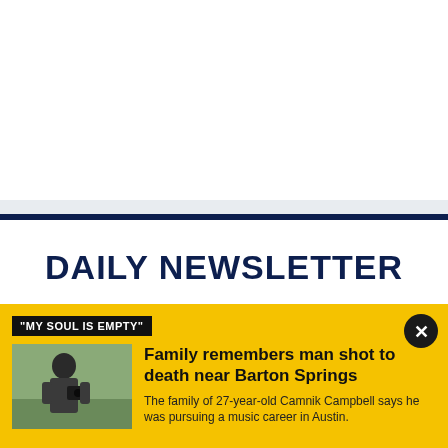DAILY NEWSLETTER
All the news you need to know, every day
"MY SOUL IS EMPTY"
[Figure (photo): Photo of a large man outdoors holding a camera, wearing a grey t-shirt, with a field and trees in the background]
Family remembers man shot to death near Barton Springs
The family of 27-year-old Camnik Campbell says he was pursuing a music career in Austin.